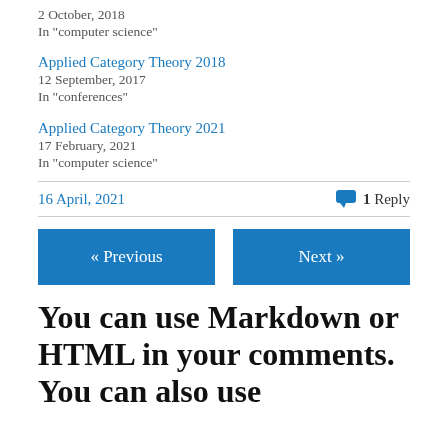2 October, 2018
In "computer science"
Applied Category Theory 2018
12 September, 2017
In "conferences"
Applied Category Theory 2021
17 February, 2021
In "computer science"
16 April, 2021
1 Reply
« Previous
Next »
You can use Markdown or HTML in your comments. You can also use